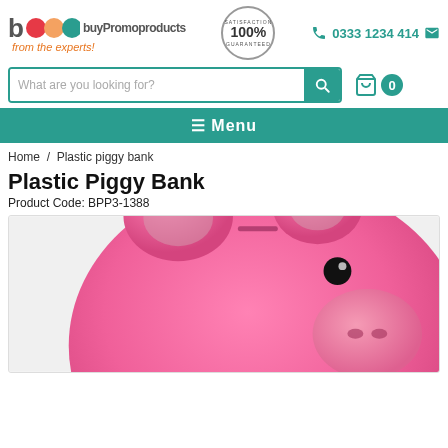[Figure (logo): BPP buyPromoproducts logo with colorful circles and tagline 'from the experts!']
[Figure (other): 100% Satisfaction Guaranteed circular stamp badge]
📞 0333 1234 414 ✉
[Figure (screenshot): Search bar with 'What are you looking for?' placeholder and teal search button]
[Figure (other): Shopping cart icon with count 0]
☰ Menu
Home / Plastic piggy bank
Plastic Piggy Bank
Product Code: BPP3-1388
[Figure (photo): Close-up photo of a pink plastic piggy bank toy]